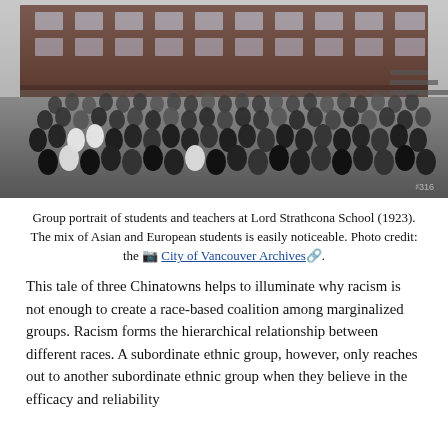[Figure (photo): Black and white group portrait of students and teachers standing outside Lord Strathcona School building, 1923. A large crowd of children and adults arranged in rows on a schoolyard, with a multi-story brick school building visible in the background.]
Group portrait of students and teachers at Lord Strathcona School (1923). The mix of Asian and European students is easily noticeable. Photo credit: the City of Vancouver Archives.
This tale of three Chinatowns helps to illuminate why racism is not enough to create a race-based coalition among marginalized groups. Racism forms the hierarchical relationship between different races. A subordinate ethnic group, however, only reaches out to another subordinate ethnic group when they believe in the efficacy and reliability